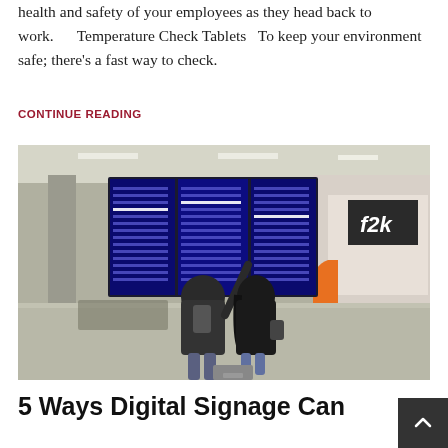health and safety of your employees as they head back to work.      Temperature Check Tablets   To keep your environment safe; there's a fast way to check.
CONTINUE READING
[Figure (photo): Two people standing in an airport terminal looking up at large blue digital flight information display boards. One person is pointing at the screens. They are wearing backpacks and dark clothing. An orange decorative element and a shop sign are visible in the background.]
5 Ways Digital Signage Can